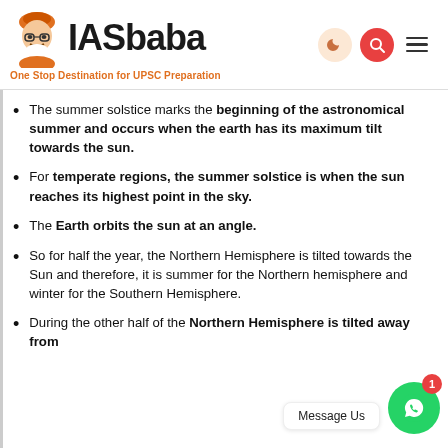IASbaba – One Stop Destination for UPSC Preparation
The summer solstice marks the beginning of the astronomical summer and occurs when the earth has its maximum tilt towards the sun.
For temperate regions, the summer solstice is when the sun reaches its highest point in the sky.
The Earth orbits the sun at an angle.
So for half the year, the Northern Hemisphere is tilted towards the Sun and therefore, it is summer for the Northern hemisphere and winter for the Southern Hemisphere.
During the other half of the year, the Northern Hemisphere is tilted away from [the sun]